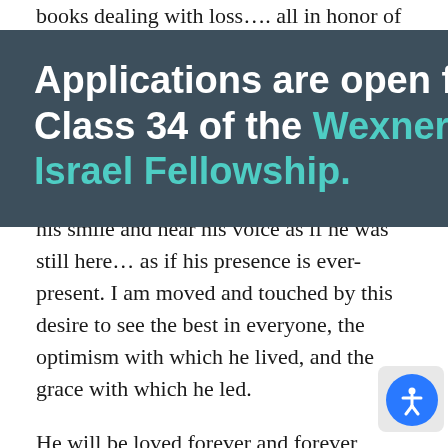books dealing with loss…. all in honor of his memory.
There are few people in this world who leave an indelible mark and enrich the lives of those connected with them, and I believe my Dad is among them. I can see his smile and hear his voice as if he was still here… as if his presence is ever-present. I am moved and touched by this desire to see the best in everyone, the optimism with which he lived, and the grace with which he led.
[Figure (infographic): Dark teal popup overlay with bold white and teal text reading 'Applications are open for Class 34 of the Wexner Israel Fellowship.' with a close (x) button in teal in the upper right corner.]
He will be loved forever and forever missed.